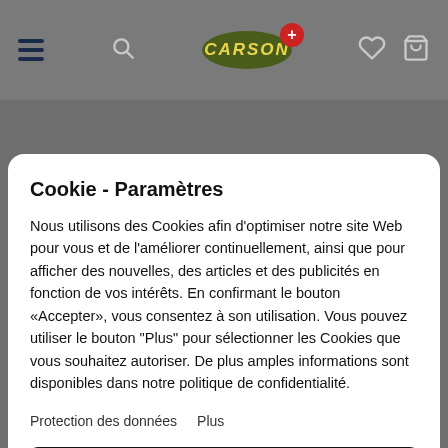[Figure (screenshot): Carson+ website header with hamburger menu, search icon, Carson+ logo, heart icon, and bag icon on grey background]
Cookie - Paramètres
Nous utilisons des Cookies afin d'optimiser notre site Web pour vous et de l'améliorer continuellement, ainsi que pour afficher des nouvelles, des articles et des publicités en fonction de vos intérêts. En confirmant le bouton «Accepter», vous consentez à son utilisation. Vous pouvez utiliser le bouton "Plus" pour sélectionner les Cookies que vous souhaitez autoriser. De plus amples informations sont disponibles dans notre politique de confidentialité.
Protection des données   Plus
Acceptez tout le monde